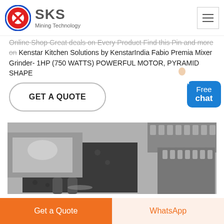SKS Mining Technology
Online Shop Great deals on Every Product Find this Pin and more on Kenstar Kitchen Solutions by KenstarIndia Fabio Premia Mixer Grinder- 1HP (750 WATTS) POWERFUL MOTOR, PYRAMID SHAPE
GET A QUOTE
[Figure (screenshot): Free chat button with person illustration]
[Figure (photo): Close-up black and white photo of heavy industrial mining machinery gears and metal components]
Get a Quote
WhatsApp